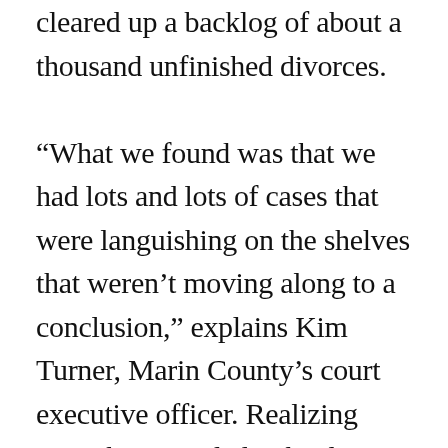cleared up a backlog of about a thousand unfinished divorces. “What we found was that we had lots and lots of cases that were languishing on the shelves that weren’t moving along to a conclusion,” explains Kim Turner, Marin County’s court executive officer. Realizing something needed to be done, Judge Lynn